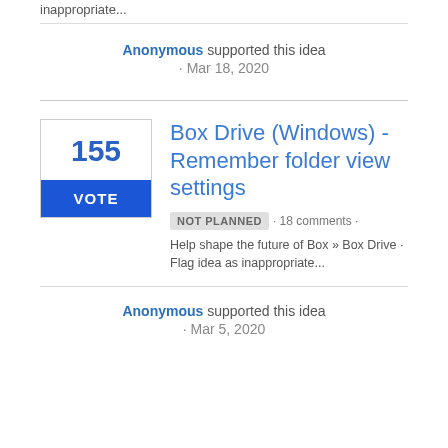inappropriate...
Anonymous supported this idea · Mar 18, 2020
Box Drive (Windows) - Remember folder view settings
NOT PLANNED · 18 comments · Help shape the future of Box » Box Drive · Flag idea as inappropriate...
Anonymous supported this idea · Mar 5, 2020